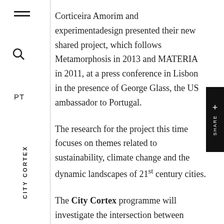Corticeira Amorim and experimentadesign presented their new shared project, which follows Metamorphosis in 2013 and MATERIA in 2011, at a press conference in Lisbon in the presence of George Glass, the US ambassador to Portugal.
The research for the project this time focuses on themes related to sustainability, climate change and the dynamic landscapes of 21st century cities.
The City Cortex programme will investigate the intersection between contemporary urban contexts and cork, one of the most versatile and sustainable materials that nature has to offer. New York has been chosen as the city where this research will be presented and the five guest studios are the architects Diller Scofidio + Renfro, Seletal Calw...